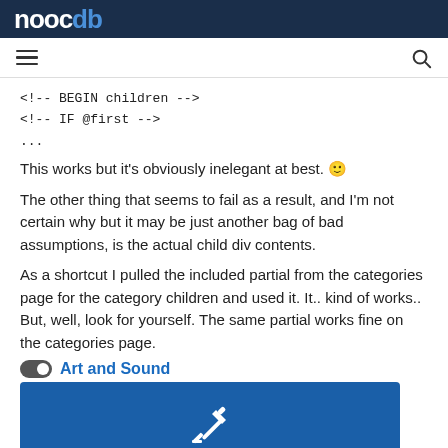nooc db
<!-- BEGIN children -->
<!-- IF @first -->
...
This works but it's obviously inelegant at best. 🙂
The other thing that seems to fail as a result, and I'm not certain why but it may be just another bag of bad assumptions, is the actual child div contents.
As a shortcut I pulled the included partial from the categories page for the category children and used it. It.. kind of works.. But, well, look for yourself. The same partial works fine on the categories page.
Art and Sound
[Figure (screenshot): Blue card with a white pencil/edit icon in the center]